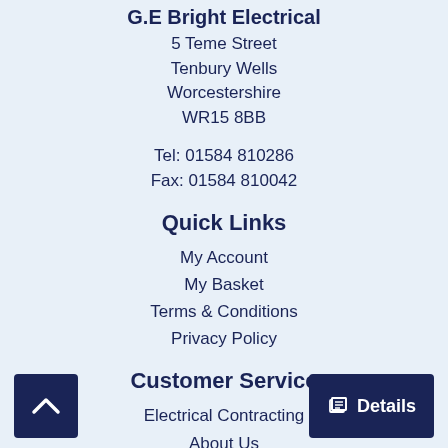G.E Bright Electrical
5 Teme Street
Tenbury Wells
Worcestershire
WR15 8BB
Tel: 01584 810286
Fax: 01584 810042
Quick Links
My Account
My Basket
Terms & Conditions
Privacy Policy
Customer Service
Electrical Contracting
About Us
Contact Us
Registered in: England